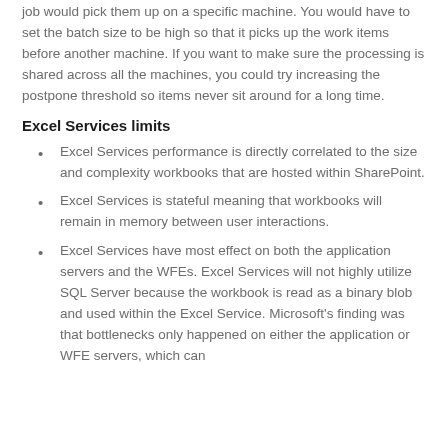job would pick them up on a specific machine. You would have to set the batch size to be high so that it picks up the work items before another machine. If you want to make sure the processing is shared across all the machines, you could try increasing the postpone threshold so items never sit around for a long time.
Excel Services limits
Excel Services performance is directly correlated to the size and complexity workbooks that are hosted within SharePoint.
Excel Services is stateful meaning that workbooks will remain in memory between user interactions.
Excel Services have most effect on both the application servers and the WFEs. Excel Services will not highly utilize SQL Server because the workbook is read as a binary blob and used within the Excel Service. Microsoft's finding was that bottlenecks only happened on either the application or WFE servers, which can